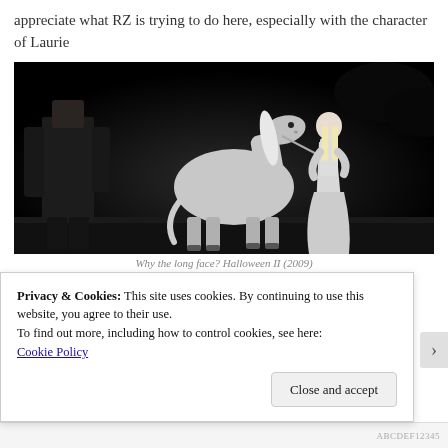appreciate what RZ is trying to do here, especially with the character of Laurie
[Figure (photo): Dark cinematic still from Halloween II (2009): a figure in dark clothing stands with back to camera on the left, a white horse in the center, and a woman in a long white dress holding the horse's lead on the right, all set against a very dark background.]
Why the long face? Halloween II (2009)
Privacy & Cookies: This site uses cookies. By continuing to use this website, you agree to their use.
To find out more, including how to control cookies, see here:
Cookie Policy
Close and accept